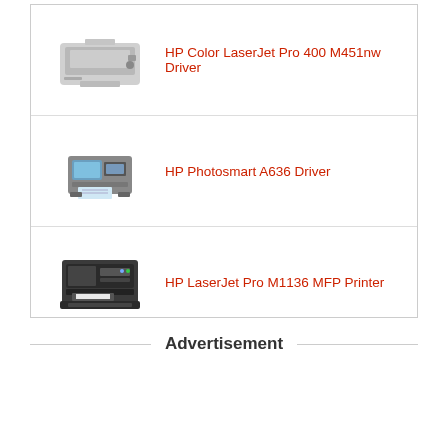HP Color LaserJet Pro 400 M451nw Driver
HP Photosmart A636 Driver
HP LaserJet Pro M1136 MFP Printer
Advertisement